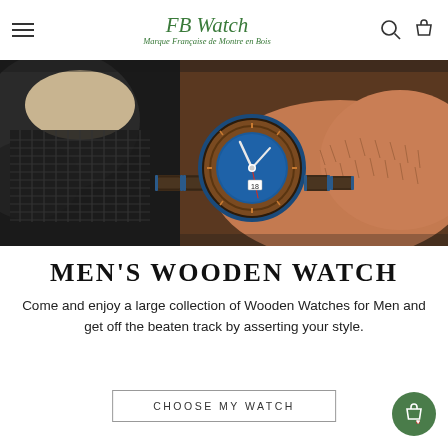FB Watch — Marque Française de Montre en Bois
[Figure (photo): Close-up of a man's wrist wearing a wooden watch with a blue dial and wood-link bracelet, resting on dark leather motorcycle gear]
MEN'S WOODEN WATCH
Come and enjoy a large collection of Wooden Watches for Men and get off the beaten track by asserting your style.
CHOOSE MY WATCH